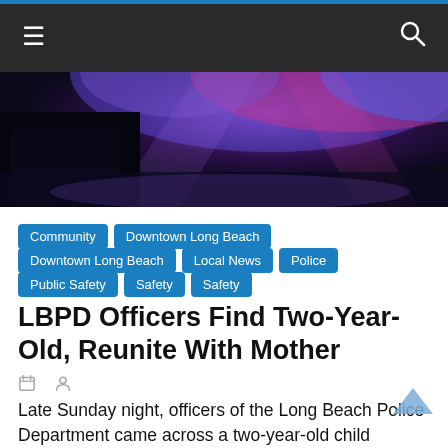Navigation bar with hamburger menu and search icon
[Figure (photo): Night scene with police car lights, blue and purple flashing lights on a dark street]
Community
Downtown Long Beach
Downtown Long Beach
Local News
Police
Public Safety
Safety
Safety
LBPD Officers Find Two-Year-Old, Reunite With Mother
Late Sunday night, officers of the Long Beach Police Department came across a two-year-old child wearing pajamas in the area